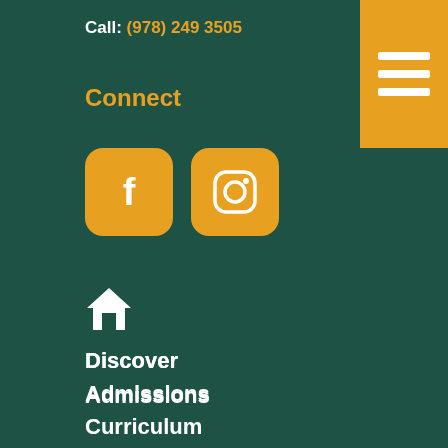Call: (978) 249 3505
Connect
[Figure (logo): Facebook and Instagram social media icon buttons with orange rounded square backgrounds on dark green]
[Figure (illustration): White house/home icon]
Discover
Admissions
Curriculum
Programs
Support